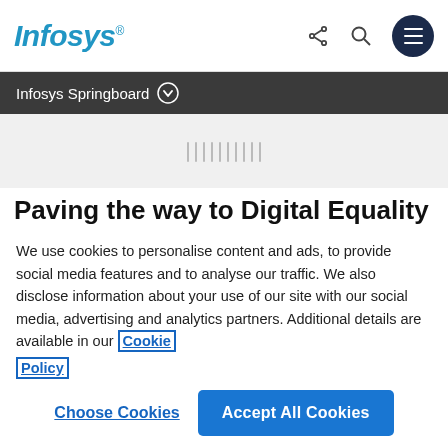Infosys
Infosys Springboard
Paving the way to Digital Equality
We use cookies to personalise content and ads, to provide social media features and to analyse our traffic. We also disclose information about your use of our site with our social media, advertising and analytics partners. Additional details are available in our Cookie Policy
Choose Cookies
Accept All Cookies